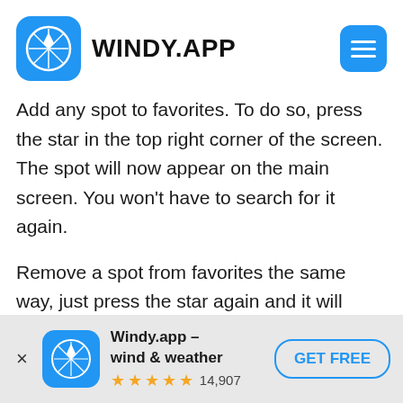WINDY.APP
Add any spot to favorites. To do so, press the star in the top right corner of the screen. The spot will now appear on the main screen. You won't have to search for it again.
Remove a spot from favorites the same way, just press the star again and it will become transparent.
[Figure (screenshot): App store banner showing Windy.app - wind & weather with 5 stars and 14,907 reviews and a GET FREE button]